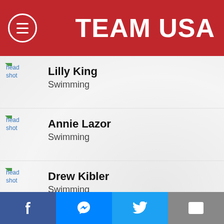TEAM USA
Lilly King
Swimming
Annie Lazor
Swimming
Drew Kibler
Swimming
Kieran Smith
Swimming
SHARE THIS PAGE
Facebook | Messenger | Twitter | Email